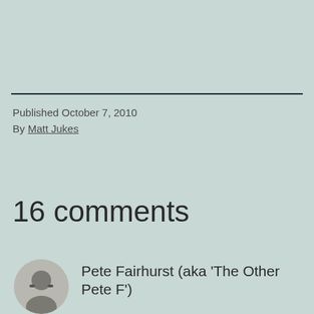Published October 7, 2010
By Matt Jukes
16 comments
Pete Fairhurst (aka 'The Other Pete F')